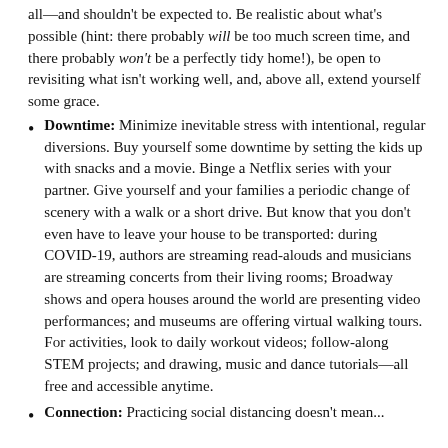all—and shouldn't be expected to. Be realistic about what's possible (hint: there probably will be too much screen time, and there probably won't be a perfectly tidy home!), be open to revisiting what isn't working well, and, above all, extend yourself some grace.
Downtime: Minimize inevitable stress with intentional, regular diversions. Buy yourself some downtime by setting the kids up with snacks and a movie. Binge a Netflix series with your partner. Give yourself and your families a periodic change of scenery with a walk or a short drive. But know that you don't even have to leave your house to be transported: during COVID-19, authors are streaming read-alouds and musicians are streaming concerts from their living rooms; Broadway shows and opera houses around the world are presenting video performances; and museums are offering virtual walking tours. For activities, look to daily workout videos; follow-along STEM projects; and drawing, music and dance tutorials—all free and accessible anytime.
Connection: Practicing social distancing doesn't mean...